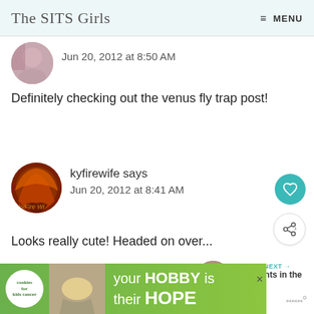The SITS Girls  ≡ MENU
[Figure (photo): Partial profile avatar image at top, partially visible]
Jun 20, 2012 at 8:50 AM
Definitely checking out the venus fly trap post!
[Figure (photo): Round profile avatar with orange/fire image, labeled kyfirewife]
kyfirewife says
Jun 20, 2012 at 8:41 AM
Looks really cute! Headed on over...
[Figure (other): Teal circular heart/like button]
[Figure (other): White circular share button]
[Figure (other): What's Next section with thumbnail and text: Footprints in the Sand]
[Figure (other): Advertisement banner: cookies for kids cancer - your HOBBY is their HOPE]